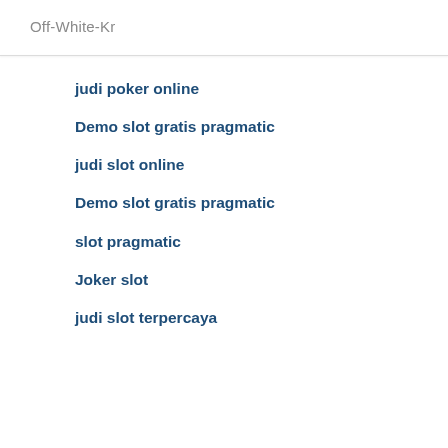Off-White-Kr
judi poker online
Demo slot gratis pragmatic
judi slot online
Demo slot gratis pragmatic
slot pragmatic
Joker slot
judi slot terpercaya